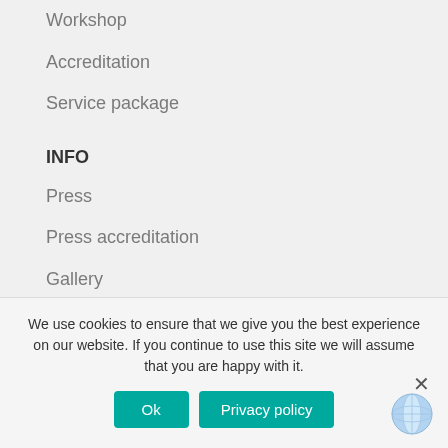Workshop
Accreditation
Service package
INFO
Press
Press accreditation
Gallery
MAFF Catalogue 2022
MID Catalogue 2022
Malmö
We use cookies to ensure that we give you the best experience on our website. If you continue to use this site we will assume that you are happy with it.